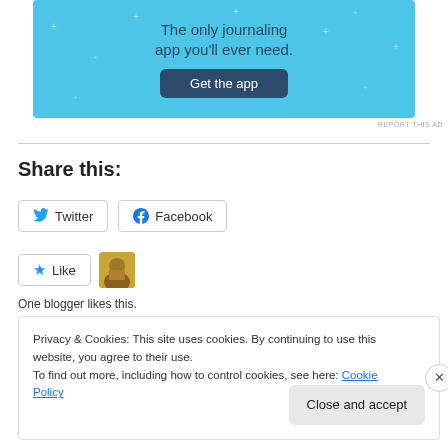[Figure (screenshot): App advertisement banner with light blue background showing text 'The only journaling app you'll ever need.' and a dark blue 'Get the app' button with star decorations]
Share this:
[Figure (screenshot): Twitter social share button with Twitter bird icon]
[Figure (screenshot): Facebook social share button with Facebook 'f' icon]
[Figure (screenshot): Like star button (blue star icon) and a blogger avatar thumbnail]
One blogger likes this.
Privacy & Cookies: This site uses cookies. By continuing to use this website, you agree to their use.
To find out more, including how to control cookies, see here: Cookie Policy
Close and accept